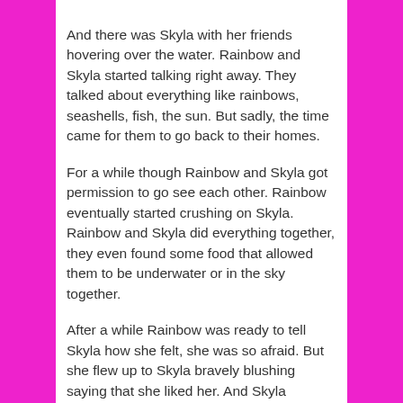And there was Skyla with her friends hovering over the water. Rainbow and Skyla started talking right away. They talked about everything like rainbows, seashells, fish, the sun. But sadly, the time came for them to go back to their homes.
For a while though Rainbow and Skyla got permission to go see each other. Rainbow eventually started crushing on Skyla. Rainbow and Skyla did everything together, they even found some food that allowed them to be underwater or in the sky together.
After a while Rainbow was ready to tell Skyla how she felt, she was so afraid. But she flew up to Skyla bravely blushing saying that she liked her. And Skyla admitted, also blushing that she felt the same way.
They kissed and started living life together. And they all lived happily ever after.
That was the end of the story! I hope you enjoyed it.